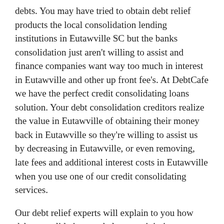debts. You may have tried to obtain debt relief products the local consolidation lending institutions in Eutawville SC but the banks consolidation just aren't willing to assist and finance companies want way too much in interest in Eutawville and other up front fee's. At DebtCafe we have the perfect credit consolidating loans solution. Your debt consolidation creditors realize the value in Eutawville of obtaining their money back in Eutawville so they're willing to assist us by decreasing in Eutawville, or even removing, late fees and additional interest costs in Eutawville when you use one of our credit consolidating services.
Our debt relief experts will explain to you how debt consolidation can help you minimize or eliminate bills charges, and simplify your card relief loans repayment with just a single creditcard relief loans payment each month. If you are from and you need to set up your free card relief loans analysis, simply complete the FREE debt consolidation form above.
Once the free relief loans form above has been completed in